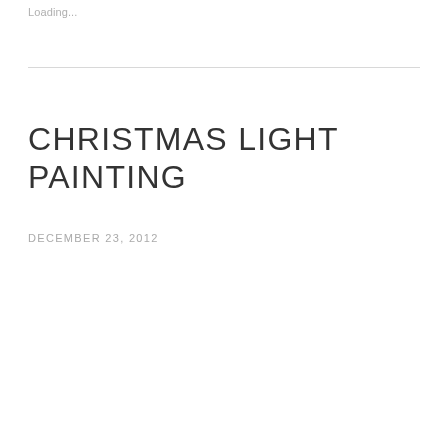Loading...
CHRISTMAS LIGHT PAINTING
DECEMBER 23, 2012